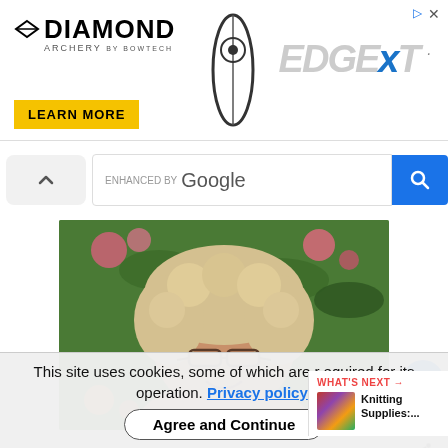[Figure (screenshot): Diamond Archery advertisement banner showing Diamond Archery logo with bow image and Edge XT text, and a Learn More button]
[Figure (screenshot): Google search bar with 'enhanced by Google' text and a search magnifying glass button, with chevron up arrow on left]
[Figure (photo): Portrait photo of a woman with curly blonde-grey hair, glasses, smiling, standing in front of colorful rose bushes]
This site uses cookies, some of which are required for its operation. Privacy policy.
Agree and Continue
WHAT'S NEXT → Knitting Supplies:....